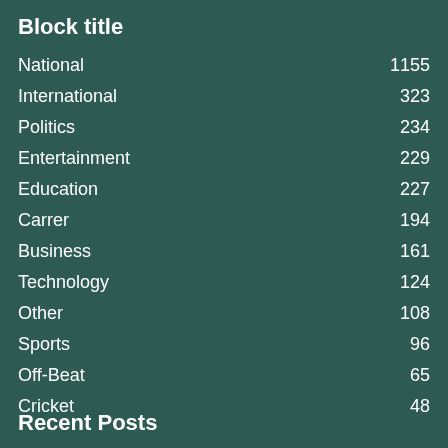Block title
National  1155
International  323
Politics  234
Entertainment  229
Education  227
Carrer  194
Business  161
Technology  124
Other  108
Sports  96
Off-Beat  65
Cricket  48
Recent Posts